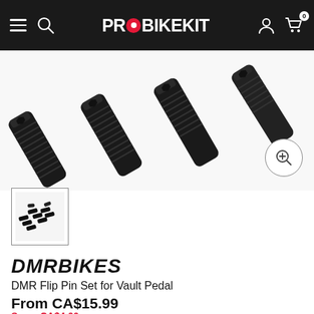PROBIKEKIT
[Figure (photo): Close-up photo of black metal threaded pins/bolts for bicycle pedal on white background]
[Figure (photo): Small thumbnail image showing a set of black pedal pins scattered on white background]
[Figure (logo): DMRBIKES brand logo in bold italic black text]
DMR Flip Pin Set for Vault Pedal
From CA$15.99
Save: CA$4.00